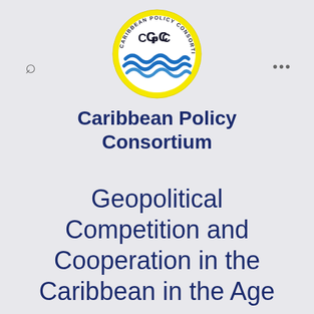[Figure (logo): Caribbean Policy Consortium circular logo with yellow border, showing CPC letters and blue wave design in the center]
Caribbean Policy Consortium
Geopolitical Competition and Cooperation in the Caribbean in the Age